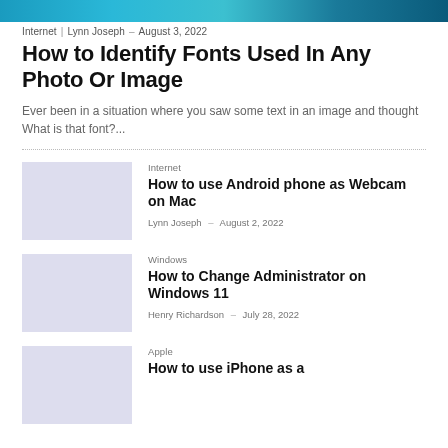[Figure (photo): Partial header image, teal/blue gradient banner at top of page]
Internet | Lynn Joseph - August 3, 2022
How to Identify Fonts Used In Any Photo Or Image
Ever been in a situation where you saw some text in an image and thought What is that font?...
Internet
How to use Android phone as Webcam on Mac
Lynn Joseph - August 2, 2022
Windows
How to Change Administrator on Windows 11
Henry Richardson - July 28, 2022
Apple
How to use iPhone as a